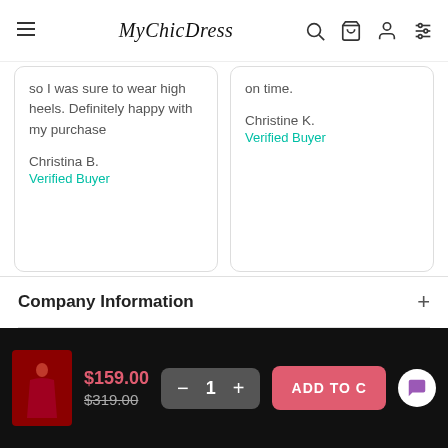MyChicDress
so I was sure to wear high heels. Definitely happy with my purchase
Christina B.
Verified Buyer
on time.
Christine K.
Verified Buyer
Company Information
$159.00  $319.00  1  ADD TO C